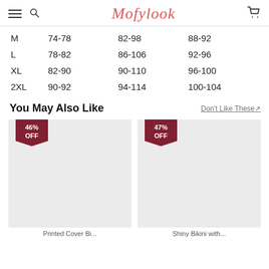Mofylook
| Size | Col2 | Col3 | Col4 |
| --- | --- | --- | --- |
| M | 74-78 | 82-98 | 88-92 |
| L | 78-82 | 86-106 | 92-96 |
| XL | 82-90 | 90-110 | 96-100 |
| 2XL | 90-92 | 94-114 | 100-104 |
You May Also Like
Don't Like These↗
[Figure (photo): Product image placeholder with 46% OFF badge]
[Figure (photo): Product image placeholder with 47% OFF badge]
Printed Cover Bi...
Shiny Bikini with...